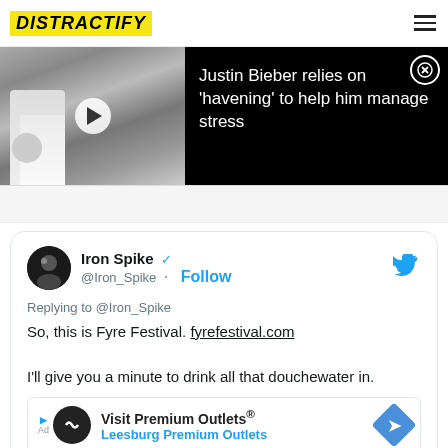DISTRACTIFY
[Figure (screenshot): Video thumbnail showing people at an event, with text overlay: Justin Bieber relies on 'havening' to help him manage stress]
Replying to @Iron_Spike
So, this is Fyre Festival. fyrefestival.com

I'll give you a minute to drink all that douchewater in.
Visit Premium Outlets® Leesburg Premium Outlets